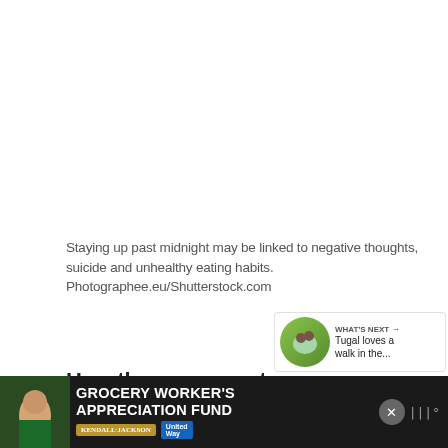Staying up past midnight may be linked to negative thoughts, suicide and unhealthy eating habits. Photographee.eu/Shutterstock.com
How the game went.
Ireland earned an early lineout from the kickoff. If you wanted to see an upset then the start by Japan was needed.
[Figure (photo): Advertisement banner: Grocery Worker's Appreciation Fund with Kendall-Jackson and United Way logos, featuring a grocery worker photo]
[Figure (infographic): What's Next panel with a small circular image of a dog/animal and text 'Tugal loves a walk in the...']